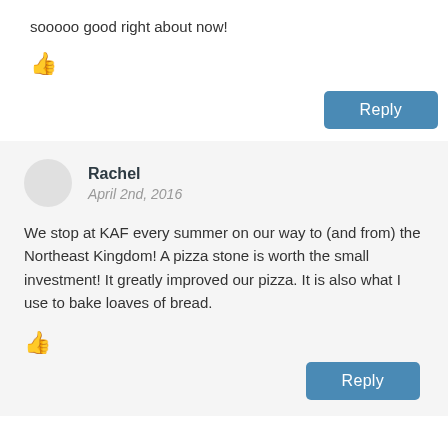sooooo good right about now!
[Figure (illustration): Thumbs up icon]
Reply
Rachel
April 2nd, 2016
We stop at KAF every summer on our way to (and from) the Northeast Kingdom! A pizza stone is worth the small investment! It greatly improved our pizza. It is also what I use to bake loaves of bread.
[Figure (illustration): Thumbs up icon]
Reply